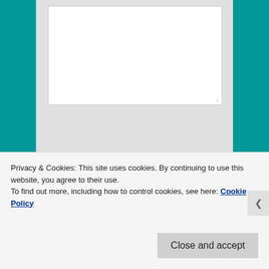[Figure (screenshot): Web form screenshot showing a textarea at top, a Name input field with red asterisk (required), and an Email input field with red asterisk (required), all on a light gray background with teal side panels.]
Privacy & Cookies: This site uses cookies. By continuing to use this website, you agree to their use.
To find out more, including how to control cookies, see here: Cookie Policy
Close and accept